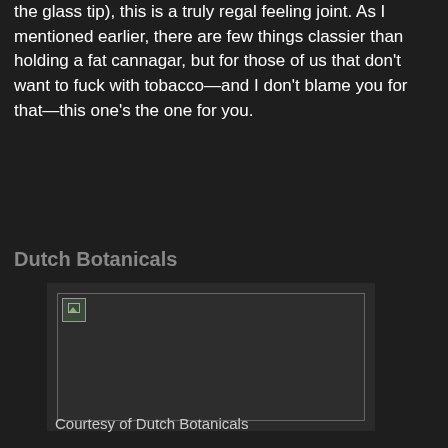the glass tip), this is a truly regal feeling joint. As I mentioned earlier, there are few things classier than holding a fat cannagar, but for those of us that don't want to fuck with tobacco—and I don't blame you for that—this one's the one for you.
Dutch Botanicals
[Figure (photo): A broken/unloaded image placeholder with a dark background and a border, representing a photo from Dutch Botanicals.]
Courtesy of Dutch Botanicals